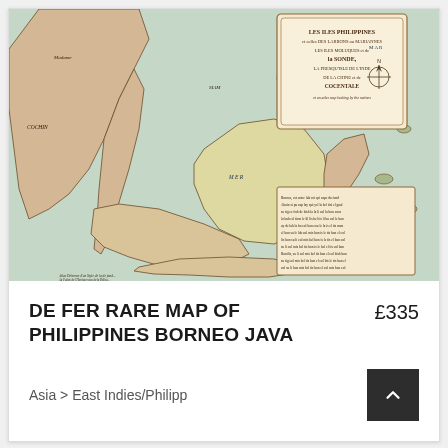[Figure (map): Historical antique map of Philippines, Borneo, Java and the East Indies (Southeast Asia), showing islands, coastlines, place names in French, decorative cartouche in upper right, and a text box in lower right. Colored engraving with pinkish-gold landmasses and blue-green waters.]
DE FER RARE MAP OF PHILIPPINES BORNEO JAVA
£335
Asia > East Indies/Philipp